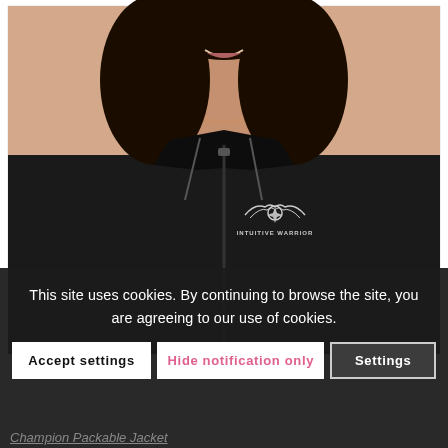[Figure (photo): A smiling woman wearing a black Champion packable jacket with a white 'Intuitive Warrior' logo embroidered on the left chest. The jacket has a zipper front and a hood with drawstrings. The photo is cropped at chest level, showing the jacket detail against a white background.]
This site uses cookies. By continuing to browse the site, you are agreeing to our use of cookies.
Accept settings
Hide notification only
Settings
Champion Packable Jacket